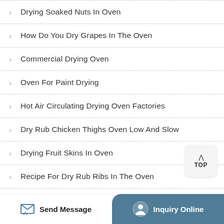Drying Soaked Nuts In Oven
How Do You Dry Grapes In The Oven
Commercial Drying Oven
Oven For Paint Drying
Hot Air Circulating Drying Oven Factories
Dry Rub Chicken Thighs Oven Low And Slow
Drying Fruit Skins In Oven
Recipe For Dry Rub Ribs In The Oven